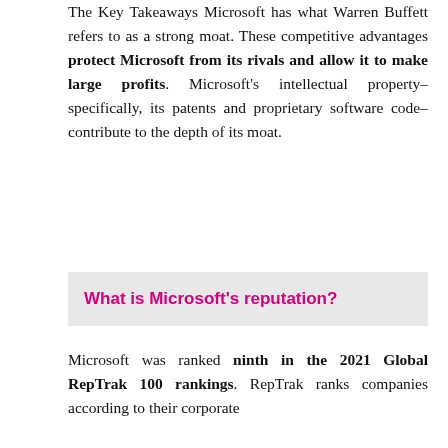The Key Takeaways Microsoft has what Warren Buffett refers to as a strong moat. These competitive advantages protect Microsoft from its rivals and allow it to make large profits. Microsoft's intellectual property–specifically, its patents and proprietary software code–contribute to the depth of its moat.
What is Microsoft's reputation?
Microsoft was ranked ninth in the 2021 Global RepTrak 100 rankings. RepTrak ranks companies according to their corporate